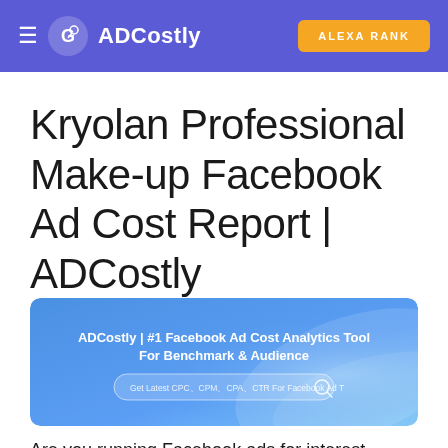≡ ADCostly | ALEXA RANK
Kryolan Professional Make-up Facebook Ad Cost Report | ADCostly
[Figure (screenshot): ADCostly banner showing: ADCostly | #1 Facebook Ad Cost Analytics Tool For Benchmark & Audience, with a search bar saying Get Latest CPC, CPM, CPA, CTR For Facebook Ad T and a search icon]
Are you running Facebook ads for interest